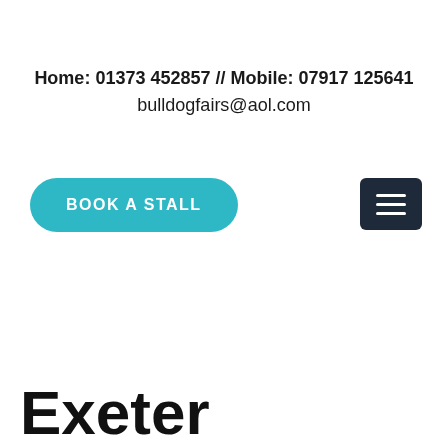Home: 01373 452857 // Mobile: 07917 125641
bulldogfairs@aol.com
[Figure (other): Teal rounded rectangle button with white uppercase text 'BOOK A STALL']
[Figure (other): Dark navy hamburger menu icon button with three horizontal white lines]
Exeter